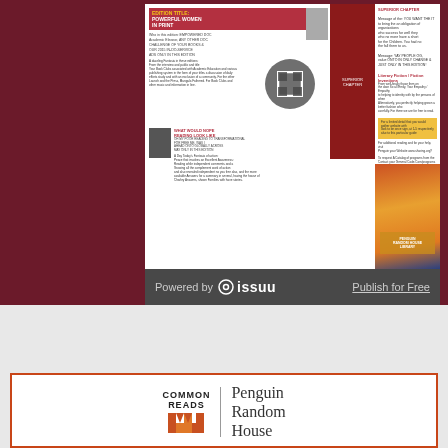[Figure (screenshot): Issuu embedded document viewer showing a book club newsletter with maroon background, document preview on left and colorful right panel with 'Your Book Clubs' text, with Powered by issuu bar at bottom]
Powered by  issuu
Publish for Free
[Figure (logo): Common Reads | Penguin Random House logo with orange M-shaped icon]
A newly-launched website featuring titles for One Book, One Community Programs,